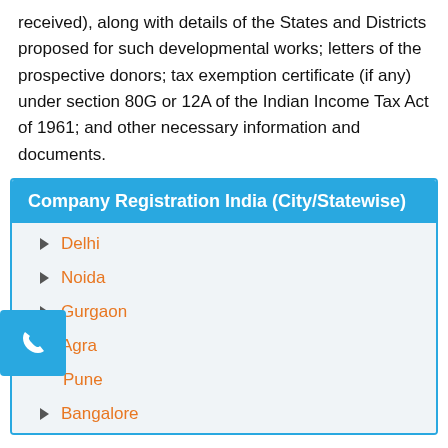received), along with details of the States and Districts proposed for such developmental works; letters of the prospective donors; tax exemption certificate (if any) under section 80G or 12A of the Indian Income Tax Act of 1961; and other necessary information and documents.
Company Registration India (City/Statewise)
Delhi
Noida
Gurgaon
Agra
Pune
Bangalore